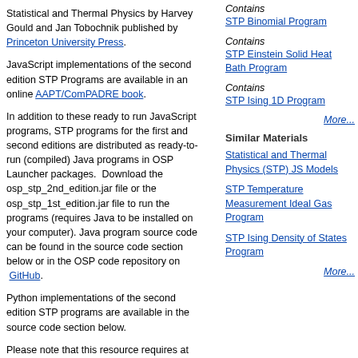Statistical and Thermal Physics by Harvey Gould and Jan Tobochnik published by Princeton University Press.
JavaScript implementations of the second edition STP Programs are available in an online AAPT/ComPADRE book.
In addition to these ready to run JavaScript programs, STP programs for the first and second editions are distributed as ready-to-run (compiled) Java programs in OSP Launcher packages. Download the osp_stp_2nd_edition.jar file or the osp_stp_1st_edition.jar file to run the programs (requires Java to be installed on your computer). Java program source code can be found in the source code section below or in the OSP code repository on GitHub.
Python implementations of the second edition STP programs are available in the source code section below.
Please note that this resource requires at least version 1.8 of Java.
[Figure (other): JAR file icon — orange/brown archive icon with .jar label]
download 4387kb .jar
Last Modified: December 29, 2020
previous versions
+ 2 supplemental documents are available
+ 2 source code documents are available
| Subjects | Levels | Resource Types |
| --- | --- | --- |
Contains
STP Binomial Program
Contains
STP Einstein Solid Heat Bath Program
Contains
STP Ising 1D Program
More...
Similar Materials
Statistical and Thermal Physics (STP) JS Models
STP Temperature Measurement Ideal Gas Program
STP Ising Density of States Program
More...